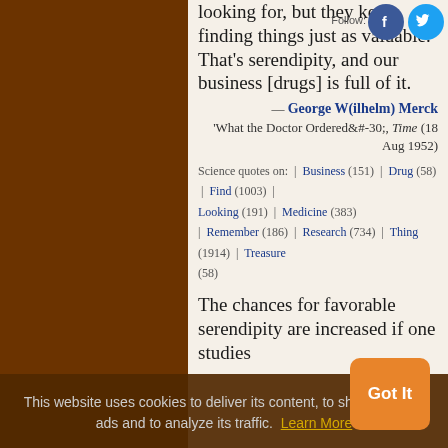looking for, but they kept finding things just as valuable. That's serendipity, and our business [drugs] is full of it.
— George W(ilhelm) Merck 'What the Doctor Ordered&#-30;, Time (18 Aug 1952)
Science quotes on: | Business (151) | Drug (58) | Find (1003) | Looking (191) | Medicine (383) | Remember (186) | Research (734) | Thing (1914) | Treasure (58)
The chances for favorable serendipity are increased if one studies not one, but many More species. Atypical animals, or
This website uses cookies to deliver its content, to show relevant ads and to analyze its traffic. Learn More